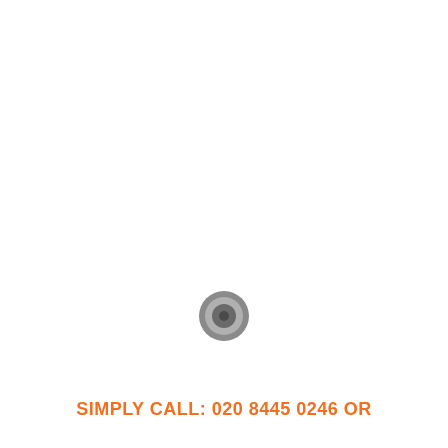[Figure (other): Small circular button or fastener element, grey colored with concentric ring detail, centered slightly left-of-center on the page]
SIMPLY CALL: 020 8445 0246 OR